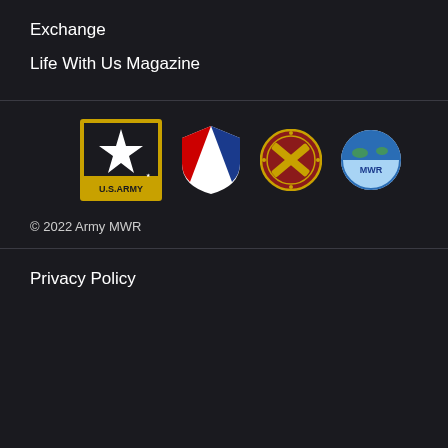Exchange
Life With Us Magazine
[Figure (logo): Four military logos: U.S. Army star logo, Army Exchange shield logo, crossed cannon military insignia, and Army MWR globe logo]
© 2022 Army MWR
Privacy Policy